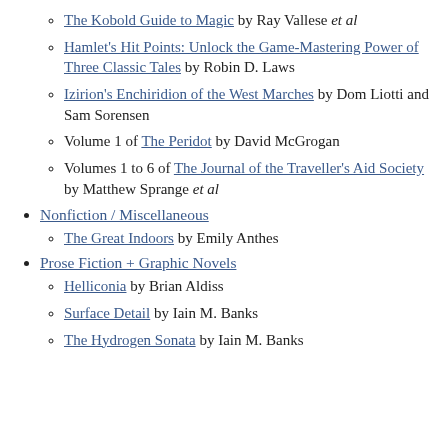The Kobold Guide to Magic by Ray Vallese et al
Hamlet's Hit Points: Unlock the Game-Mastering Power of Three Classic Tales by Robin D. Laws
Izirion's Enchiridion of the West Marches by Dom Liotti and Sam Sorensen
Volume 1 of The Peridot by David McGrogan
Volumes 1 to 6 of The Journal of the Traveller's Aid Society by Matthew Sprange et al
Nonfiction / Miscellaneous
The Great Indoors by Emily Anthes
Prose Fiction + Graphic Novels
Helliconia by Brian Aldiss
Surface Detail by Iain M. Banks
The Hydrogen Sonata by Iain M. Banks